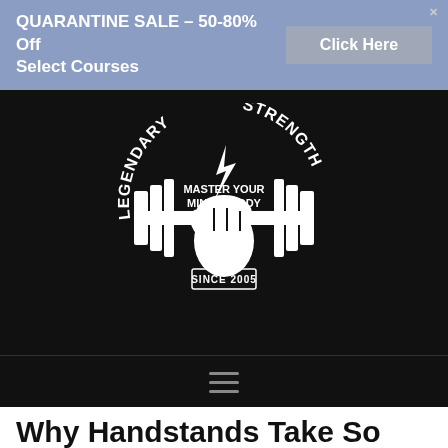QUARANTINE SALE - 50-80% Off Select Courses | Click Here
[Figure (logo): Legendary Strength logo on black background - circular text reading LEGENDARY STRENGTH around a dumbbell and fist graphic with text Master Your Mind & Body and SINCE 2005]
Why Handstands Take So Long To Learn